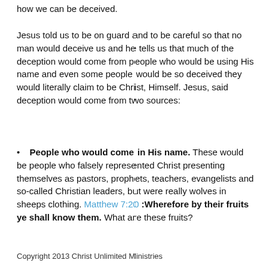how we can be deceived.
Jesus told us to be on guard and to be careful so that no man would deceive us and he tells us that much of the deception would come from people who would be using His name and even some people would be so deceived they would literally claim to be Christ, Himself. Jesus, said deception would come from two sources:
People who would come in His name. These would be people who falsely represented Christ presenting themselves as pastors, prophets, teachers, evangelists and so-called Christian leaders, but were really wolves in sheeps clothing. Matthew 7:20 :Wherefore by their fruits ye shall know them. What are these fruits?
Copyright 2013 Christ Unlimited Ministries